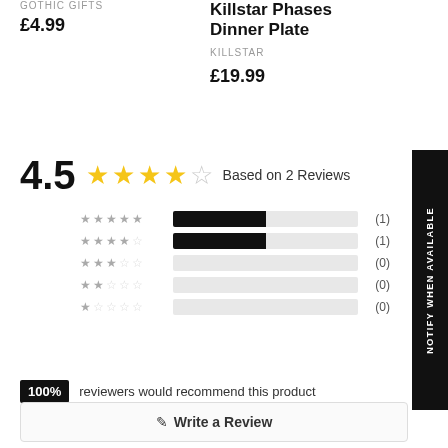GOTHIC GIFTS
£4.99
Killstar Phases Dinner Plate
KILLSTAR
£19.99
[Figure (infographic): Rating summary showing 4.5 out of 5 stars based on 2 reviews, with bar breakdown: 5-star:1, 4-star:1, 3-star:0, 2-star:0, 1-star:0. 100% of reviewers would recommend this product.]
100% reviewers would recommend this product
Write a Review